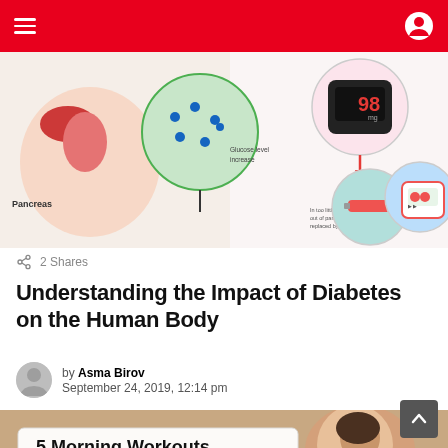Navigation bar with hamburger menu and icons
[Figure (illustration): Medical infographic showing diabetes impact on the human body: pancreas anatomy, glucose meter reading 98, insulin syringe, blood pressure monitor]
2 Shares
Understanding the Impact of Diabetes on the Human Body
by Asma Birov
September 24, 2019, 12:14 pm
[Figure (photo): 5 Morning Workouts For All Day Energy - image showing a woman with text overlay]